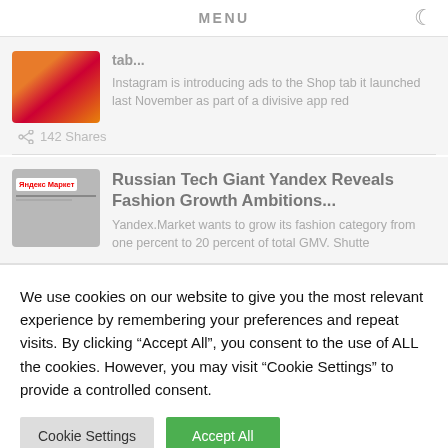MENU
tab...
Instagram is introducing ads to the Shop tab it launched last November as part of a divisive app red
142 Shares
Russian Tech Giant Yandex Reveals Fashion Growth Ambitions...
Yandex.Market wants to grow its fashion category from one percent to 20 percent of total GMV. Shutte
We use cookies on our website to give you the most relevant experience by remembering your preferences and repeat visits. By clicking "Accept All", you consent to the use of ALL the cookies. However, you may visit "Cookie Settings" to provide a controlled consent.